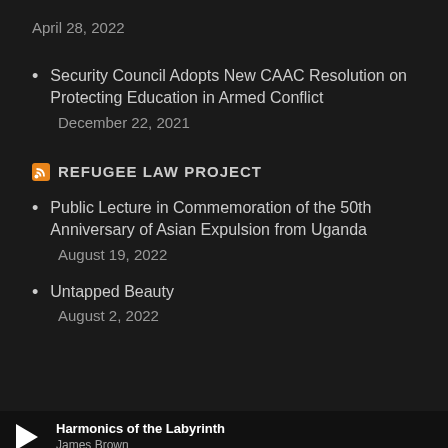April 28, 2022
Security Council Adopts New CAAC Resolution on Protecting Education in Armed Conflict
December 22, 2021
REFUGEE LAW PROJECT
Public Lecture in Commemoration of the 50th Anniversary of Asian Expulsion from Uganda
August 19, 2022
Untapped Beauty
August 2, 2022
Harmonics of the Labyrinth
James Brown